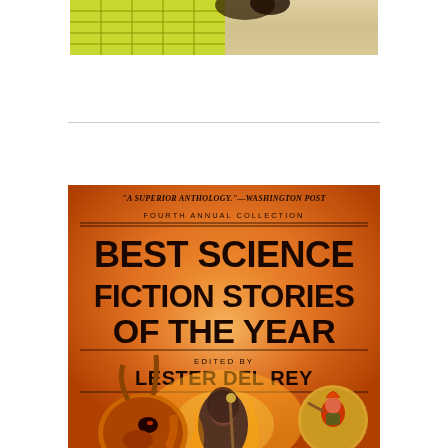[Figure (photo): Partial view of top portion of another book cover, showing yellow-green grid pattern on left and light beige/cream texture on right.]
[Figure (photo): Book cover of 'Best Science Fiction Stories of the Year, Fourth Annual Collection', edited by Lester Del Rey. Orange/red background with bold dark typography at top, and illustrated fantasy/sci-fi scene at bottom featuring alien creatures, a robed figure with a staff, and a warrior in a circular frame.]